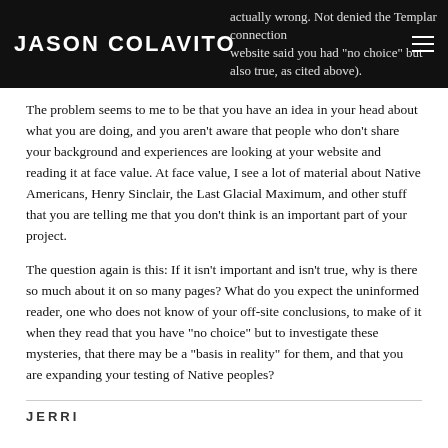JASON COLAVITO
actually wrong. Not denied the Templar connection website said you had "no choice" but also true, as cited above).
The problem seems to me to be that you have an idea in your head about what you are doing, and you aren't aware that people who don't share your background and experiences are looking at your website and reading it at face value. At face value, I see a lot of material about Native Americans, Henry Sinclair, the Last Glacial Maximum, and other stuff that you are telling me that you don't think is an important part of your project.
The question again is this: If it isn't important and isn't true, why is there so much about it on so many pages? What do you expect the uninformed reader, one who does not know of your off-site conclusions, to make of it when they read that you have "no choice" but to investigate these mysteries, that there may be a "basis in reality" for them, and that you are expanding your testing of Native peoples?
JERRI